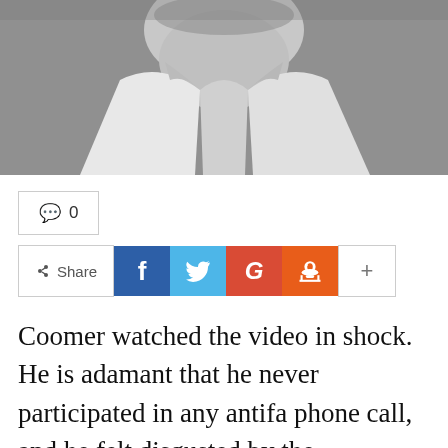[Figure (photo): Black and white close-up photo of a man's neck and collar area, wearing a white dress shirt]
💬 0
Share  f  🐦  G  reddit  +
Coomer watched the video in shock. He is adamant that he never participated in any antifa phone call, and he felt disgusted by the accusation that he had done anything